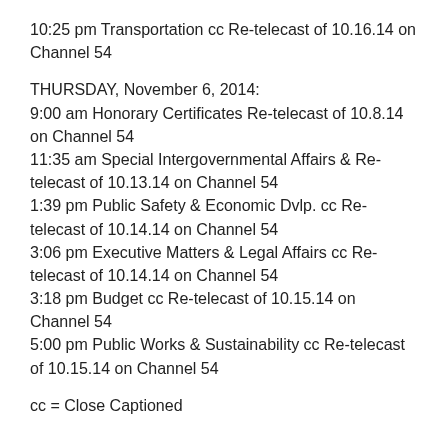10:25 pm Transportation cc Re-telecast of 10.16.14 on Channel 54
THURSDAY, November 6, 2014:
9:00 am Honorary Certificates Re-telecast of 10.8.14 on Channel 54
11:35 am Special Intergovernmental Affairs & Re-telecast of 10.13.14 on Channel 54
1:39 pm Public Safety & Economic Dvlp. cc Re-telecast of 10.14.14 on Channel 54
3:06 pm Executive Matters & Legal Affairs cc Re-telecast of 10.14.14 on Channel 54
3:18 pm Budget cc Re-telecast of 10.15.14 on Channel 54
5:00 pm Public Works & Sustainability cc Re-telecast of 10.15.14 on Channel 54
cc = Close Captioned